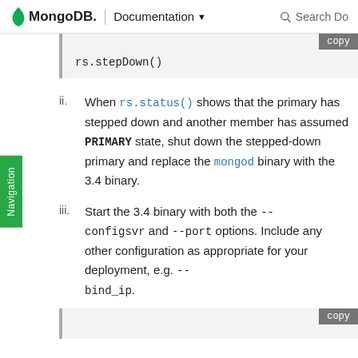MongoDB. | Documentation   Search Do
rs.stepDown()
When rs.status() shows that the primary has stepped down and another member has assumed PRIMARY state, shut down the stepped-down primary and replace the mongod binary with the 3.4 binary.
Start the 3.4 binary with both the --configsvr and --port options. Include any other configuration as appropriate for your deployment, e.g. --bind_ip.